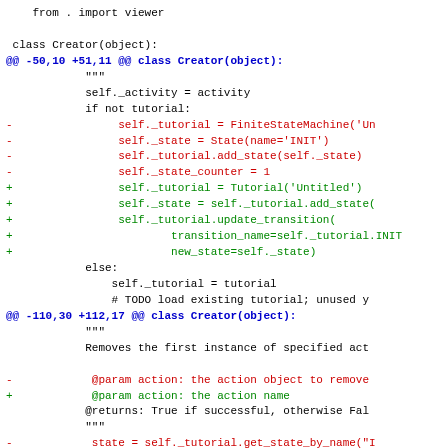Code diff showing changes to Creator class in Python, including from . import viewer, class Creator(object): header, @@ -50,10 +51,11 @@ hunk, self._activity, if not tutorial block with removed/added lines for FiniteStateMachine/Tutorial, and @@ -110,30 +112,17 @@ hunk with docstring and @param/@returns changes.